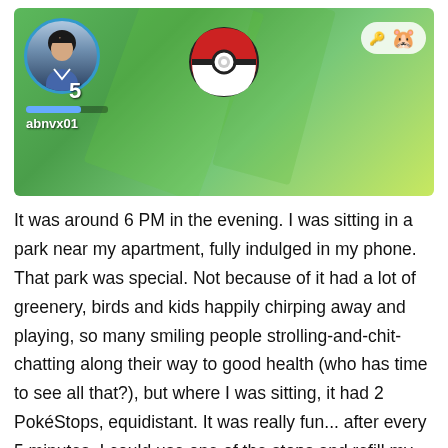[Figure (screenshot): Pokemon Go game screenshot showing player avatar at level 5 with username 'abnvx01', a Pokeball in the center top, and a key/buddy icon in the top right corner. Green map background.]
It was around 6 PM in the evening. I was sitting in a park near my apartment, fully indulged in my phone. That park was special. Not because of it had a lot of greenery, birds and kids happily chirping away and playing, so many smiling people strolling-and-chit-chatting along their way to good health (who has time to see all that?), but where I was sitting, it had 2 PokéStops, equidistant. It was really fun... after every 5 minutes, I could use one of the stops and refill my PokéBalls and earn major XP without even walking. And then use another. On top of that, one could find many Pokémons there. And even better, within 50 m away, there was a Gym where I could battle with others.